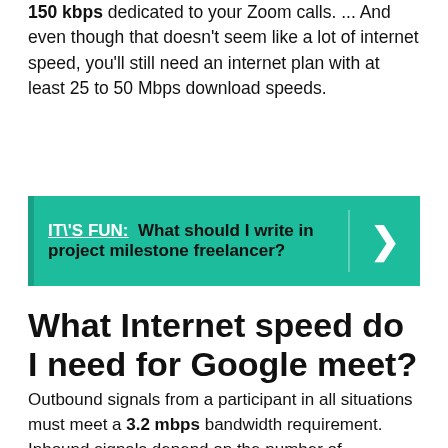150 kbps dedicated to your Zoom calls. ... And even though that doesn't seem like a lot of internet speed, you'll still need an internet plan with at least 25 to 50 Mbps download speeds.
[Figure (infographic): Teal callout box with label IT'S FUN: and text 'What should I write in project milestone freelancer?' with a right-arrow chevron on the right side.]
What Internet speed do I need for Google meet?
Outbound signals from a participant in all situations must meet a 3.2 mbps bandwidth requirement. Inbound signals depend on the number of participants: 2.6 mbps with 2 participants. 3.2 mbps with 5 participants.